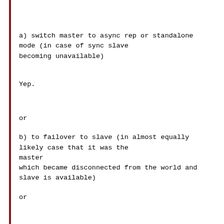a) switch master to async rep or standalone mode (in case of sync slave becoming unavailable)
Yep.
or
b) to failover to slave (in almost equally likely case that it was the master which became disconnected from the world and slave is available)
or